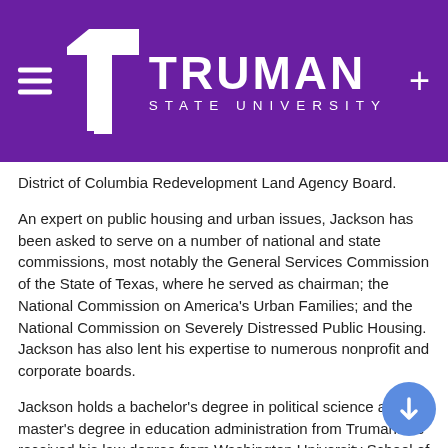Truman State University
District of Columbia Redevelopment Land Agency Board.
An expert on public housing and urban issues, Jackson has been asked to serve on a number of national and state commissions, most notably the General Services Commission of the State of Texas, where he served as chairman; the National Commission on America’s Urban Families; and the National Commission on Severely Distressed Public Housing. Jackson has also lent his expertise to numerous nonprofit and corporate boards.
Jackson holds a bachelor’s degree in political science and a master’s degree in education administration from Truman. He received his law degree from Washington University School of Law.
Jackson has remained connected to Truman by serving on the Board of Governors from 1994-2001 and by donating his personal collection of items acquired during his years in HUD to Pickler Memorial Library at a ceremony held in February 2...